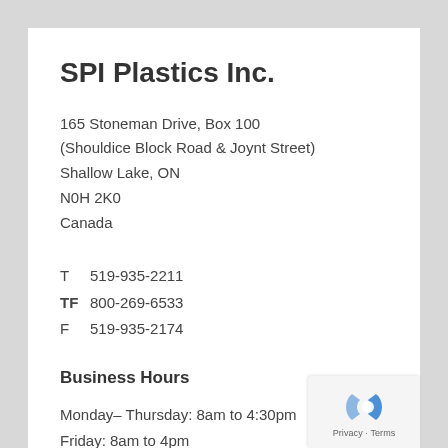SPI Plastics Inc.
165 Stoneman Drive, Box 100
(Shouldice Block Road & Joynt Street)
Shallow Lake, ON
N0H 2K0
Canada
T  519-935-2211
TF  800-269-6533
F  519-935-2174
Business Hours
Monday– Thursday: 8am to 4:30pm
Friday: 8am to 4pm